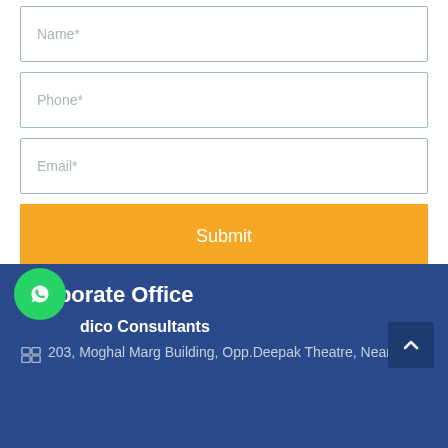[Figure (other): Form input field with placeholder text 'Name*']
[Figure (other): Form input field with placeholder text 'Phone*']
[Figure (other): Form input field with placeholder text 'Email*']
[Figure (other): Orange submit button with label 'Submit']
Corporate Office
dico Consultants
203, Moghal Marg Building, Opp.Deepak Theatre, Near